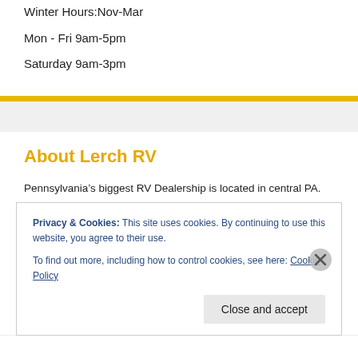Winter Hours:Nov-Mar
Mon - Fri 9am-5pm
Saturday 9am-3pm
About Lerch RV
Pennsylvania's biggest RV Dealership is located in central PA.  We have been helping families make camping memories for over 44 years. Over those years we have grown to become one of the premiere RV dealerships in the Mid-Atlantic area. So come visit our Milroy, PA location and see what we have to offer.
Privacy & Cookies: This site uses cookies. By continuing to use this website, you agree to their use.
To find out more, including how to control cookies, see here: Cookie Policy